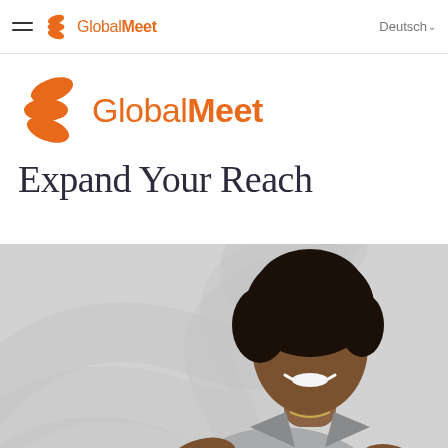GlobalMeet — Deutsch
[Figure (logo): GlobalMeet logo — orange swirl icon with 'GlobalMeet' text in orange, large format]
Expand Your Reach
[Figure (photo): Smiling Black woman in a grey blazer, gesturing with hands, with a large decorative GlobalMeet swirl watermark in the background]